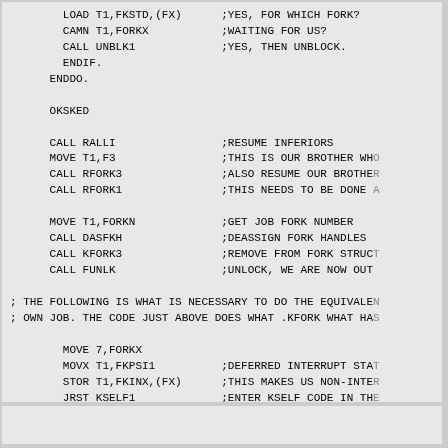Assembly code listing showing LOAD T1,FKSTD,(FX) through SMRETN with comments
Footer area (empty)